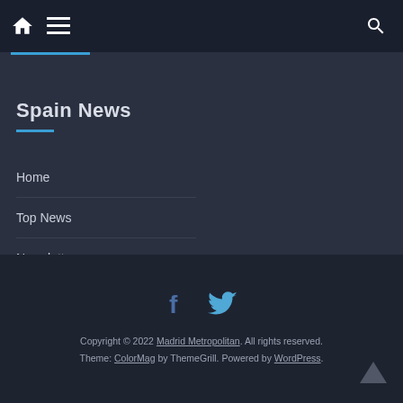Navigation bar with home, menu icons and search icon
Spain News
Home
Top News
Newsletter
Copyright © 2022 Madrid Metropolitan. All rights reserved. Theme: ColorMag by ThemeGrill. Powered by WordPress.